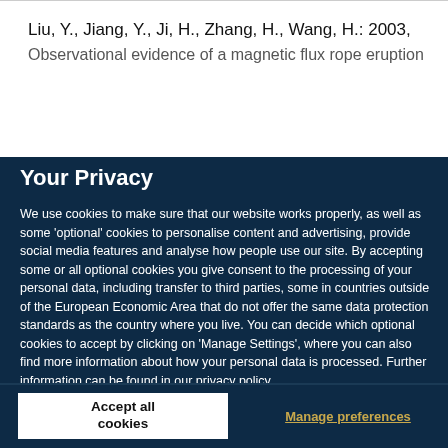Liu, Y., Jiang, Y., Ji, H., Zhang, H., Wang, H.: 2003, Observational evidence of a magnetic flux rope eruption
Your Privacy
We use cookies to make sure that our website works properly, as well as some 'optional' cookies to personalise content and advertising, provide social media features and analyse how people use our site. By accepting some or all optional cookies you give consent to the processing of your personal data, including transfer to third parties, some in countries outside of the European Economic Area that do not offer the same data protection standards as the country where you live. You can decide which optional cookies to accept by clicking on 'Manage Settings', where you can also find more information about how your personal data is processed. Further information can be found in our privacy policy.
Accept all cookies
Manage preferences